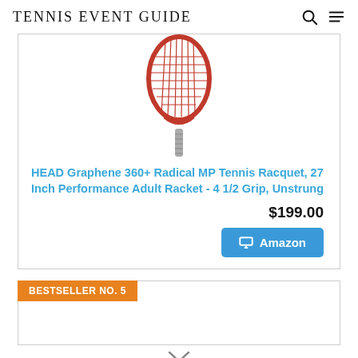TENNIS EVENT GUIDE
[Figure (illustration): Red and grey tennis racquet illustration, facing front]
HEAD Graphene 360+ Radical MP Tennis Racquet, 27 Inch Performance Adult Racket - 4 1/2 Grip, Unstrung
$199.00
Amazon
BESTSELLER NO. 5